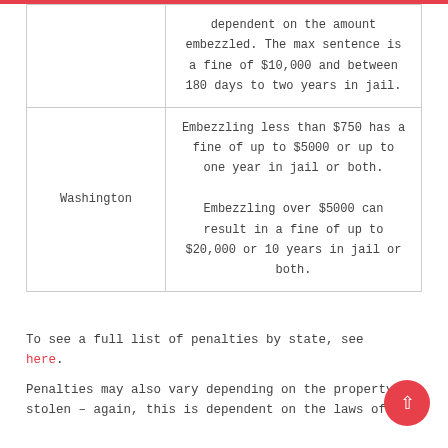| State | Penalty |
| --- | --- |
|  | dependent on the amount embezzled. The max sentence is a fine of $10,000 and between 180 days to two years in jail. |
| Washington | Embezzling less than $750 has a fine of up to $5000 or up to one year in jail or both.

Embezzling over $5000 can result in a fine of up to $20,000 or 10 years in jail or both. |
To see a full list of penalties by state, see here.
Penalties may also vary depending on the property stolen – again, this is dependent on the laws of